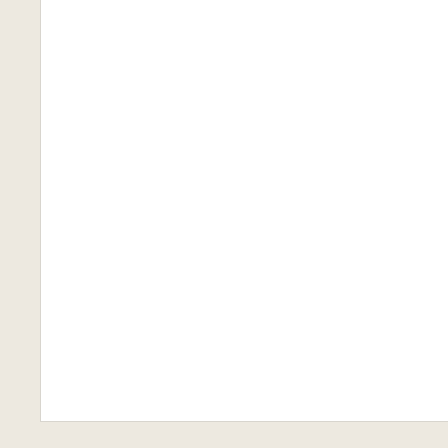[Figure (other): White content box area at the top left of the page, appears to be a content or image placeholder]
Member Login
[Figure (screenshot): Username input field with placeholder text 'Username']
[Figure (screenshot): Password input field with placeholder text 'Password']
Remember Me (checked checkbox)
Log in